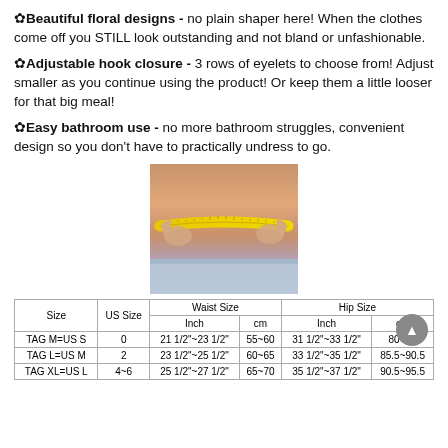✿Beautiful floral designs - no plain shaper here! When the clothes come off you STILL look outstanding and not bland or unfashionable.
✿Adjustable hook closure - 3 rows of eyelets to choose from! Adjust smaller as you continue using the product! Or keep them a little looser for that big meal!
✿Easy bathroom use - no more bathroom struggles, convenient design so you don't have to practically undress to go.
[Figure (photo): Woman measuring her waist with a yellow tape measure]
| Size | US Size | Waist Size (Inch) | Waist Size (cm) | Hip Size (Inch) | Hip Size (cm) |
| --- | --- | --- | --- | --- | --- |
| TAG M=US S | 0 | 21 1/2"~23 1/2" | 55~60 | 31 1/2"~33 1/2" | 80~85 |
| TAG L=US M | 2 | 23 1/2"~25 1/2" | 60~65 | 33 1/2"~35 1/2" | 85.5~90.5 |
| TAG XL=US L | 4~6 | 25 1/2"~27 1/2" | 65~70 | 35 1/2"~37 1/2" | 90.5~95.5 |